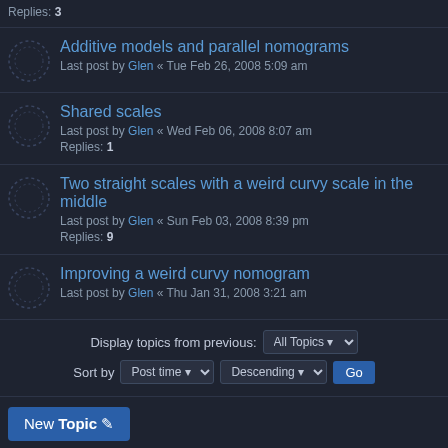Replies: 3
Additive models and parallel nomograms
Last post by Glen « Tue Feb 26, 2008 5:09 am
Shared scales
Last post by Glen « Wed Feb 06, 2008 8:07 am
Replies: 1
Two straight scales with a weird curvy scale in the middle
Last post by Glen « Sun Feb 03, 2008 8:39 pm
Replies: 9
Improving a weird curvy nomogram
Last post by Glen « Thu Jan 31, 2008 3:21 am
Display topics from previous: All Topics
Sort by Post time Descending Go
New Topic
14 topics • Page 1 of 1
Jump to
Who is online